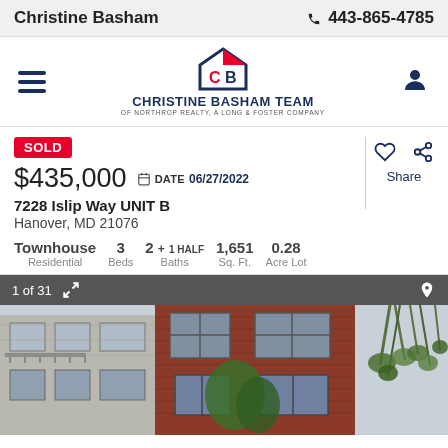Christine Basham  443-865-4785
[Figure (logo): Christine Basham Team of Northrop Realty, A Long & Foster Company logo with hamburger menu and user icon]
SOLD
$435,000  DATE 06/27/2022
7228 Islip Way UNIT B
Hanover, MD 21076
Townhouse Residential  3 Beds  2 + 1 HALF Baths  1,651 Sq. Ft.  0.28 Acre Lot
1 of 31
[Figure (photo): Exterior photo of townhouse buildings — light brick unit on left with balcony, red brick units in center, trees on right]
Contact Agent